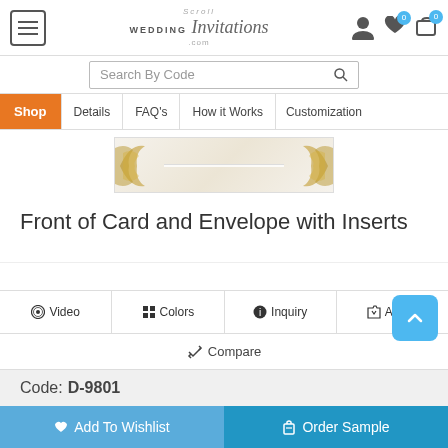[Figure (screenshot): Website header with hamburger menu, ScrollWeddingInvitations.com logo, and icons for user account, wishlist (0), and cart (0)]
Search By Code
Shop | Details | FAQ's | How it Works | Customization
[Figure (photo): Wedding invitation card with gold floral decorations on sides, white/cream background]
Front of Card and Envelope with Inserts
Video | Colors | Inquiry | Add C...
Compare
Code: D-9801
Add To Wishlist
Order Sample